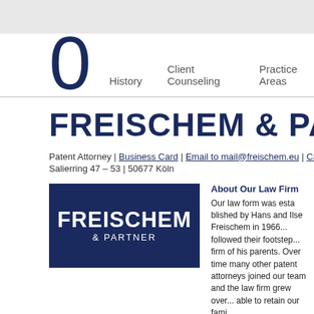0  History  Client Counseling  Practice Areas
FREISCHEM & PARTNER
Patent Attorney | Business Card | Email to mail@freischem.eu | Call +49... Salierring 47 – 53 | 50677 Köln
[Figure (logo): Freischem & Partner law firm logo — dark navy blue rectangle with white bold text reading FREISCHEM & PARTNER]
About Our Law Firm
Our law form was esta... Ilse Freischem in 1966... followed their footstep... firm of his parents. Ov... patent attorneys joine... the law firm grew over... able to retain our fami...